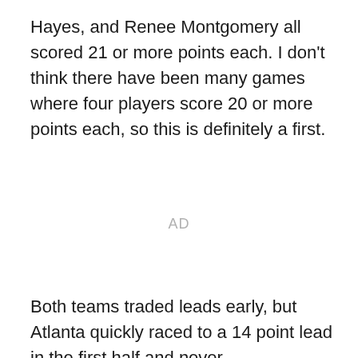Hayes, and Renee Montgomery all scored 21 or more points each. I don't think there have been many games where four players score 20 or more points each, so this is definitely a first.
AD
Both teams traded leads early, but Atlanta quickly raced to a 14 point lead in the first half and never